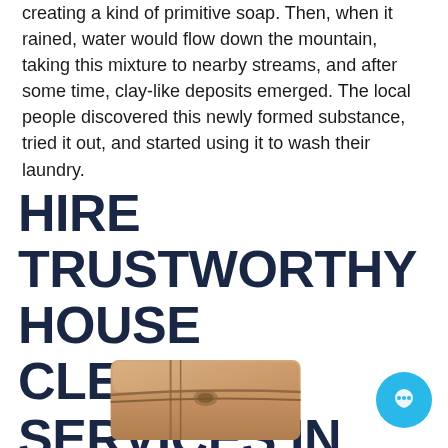creating a kind of primitive soap. Then, when it rained, water would flow down the mountain, taking this mixture to nearby streams, and after some time, clay-like deposits emerged. The local people discovered this newly formed substance, tried it out, and started using it to wash their laundry.
HIRE TRUSTWORTHY HOUSE CLEANING SERVICES IN QUEENS, NY, TODAY
[Figure (photo): A bar of soap wrapped with twine/string, light brown color, photographed on white background. Partially visible at bottom of page.]
[Figure (illustration): Blue circular chat bubble icon button in bottom right corner.]